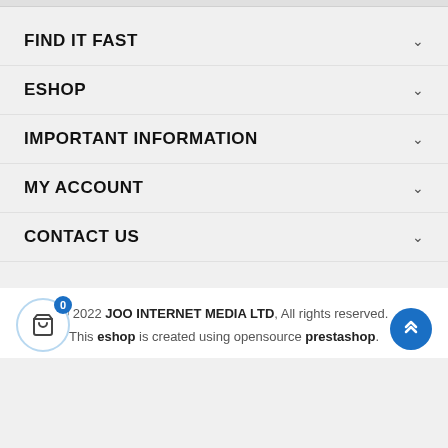FIND IT FAST
ESHOP
IMPORTANT INFORMATION
MY ACCOUNT
CONTACT US
© 2022 JOO INTERNET MEDIA LTD, All rights reserved. This eshop is created using opensource prestashop.